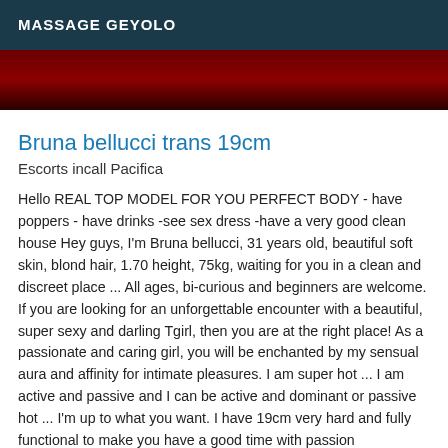MASSAGE GEYOLO
[Figure (photo): Dark red background image, partially visible at top of page]
Bruna bellucci trans 19cm
Escorts incall Pacifica
Hello REAL TOP MODEL FOR YOU PERFECT BODY - have poppers - have drinks -see sex dress -have a very good clean house Hey guys, I'm Bruna bellucci, 31 years old, beautiful soft skin, blond hair, 1.70 height, 75kg, waiting for you in a clean and discreet place ... All ages, bi-curious and beginners are welcome. If you are looking for an unforgettable encounter with a beautiful, super sexy and darling Tgirl, then you are at the right place! As a passionate and caring girl, you will be enchanted by my sensual aura and affinity for intimate pleasures. I am super hot ... I am active and passive and I can be active and dominant or passive hot ... I'm up to what you want. I have 19cm very hard and fully functional to make you have a good time with passion